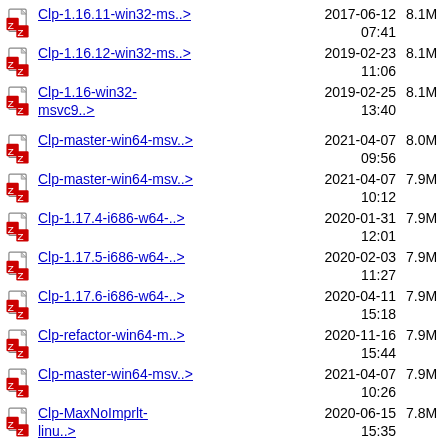Clp-1.16.11-win32-ms..> 2017-06-12 07:41 8.1M
Clp-1.16.12-win32-ms..> 2019-02-23 11:06 8.1M
Clp-1.16-win32-msvc9..> 2019-02-25 13:40 8.1M
Clp-master-win64-msv..> 2021-04-07 09:56 8.0M
Clp-master-win64-msv..> 2021-04-07 10:12 7.9M
Clp-1.17.4-i686-w64-..> 2020-01-31 12:01 7.9M
Clp-1.17.5-i686-w64-..> 2020-02-03 11:27 7.9M
Clp-1.17.6-i686-w64-..> 2020-04-11 15:18 7.9M
Clp-refactor-win64-m..> 2020-11-16 15:44 7.9M
Clp-master-win64-msv..> 2021-04-07 10:26 7.9M
Clp-MaxNoImprlt-linu..> 2020-06-15 15:35 7.8M